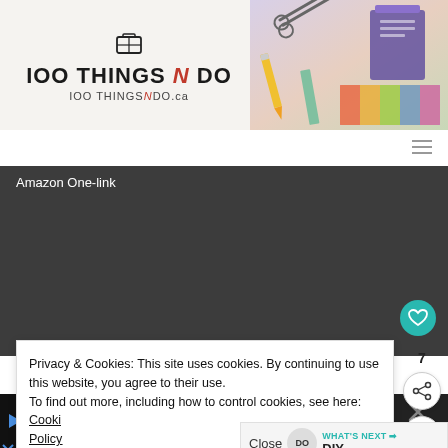[Figure (screenshot): 100 Things N Do website header banner with logo text '100 THINGS N DO' and 'IOO THINGSNDО.ca', accompanied by craft/school supplies photo on right side]
[Figure (screenshot): Hamburger menu icon (three horizontal lines) on white background]
Amazon One-link
[Figure (screenshot): Teal circular heart/wishlist button on right side over dark background]
Privacy & Cookies: This site uses cookies. By continuing to use this website, you agree to their use.
To find out more, including how to control cookies, see here: Cookie Policy
[Figure (screenshot): Share icon button (circular with share arrows) with number 7 above it, and X close button below]
Close
WHAT'S NEXT → DIY
[Figure (screenshot): Bottom advertisement strip showing Dulles store: OPEN 10AM-8PM, 45575 Dulles Eastern Plaza, Suite 171, D, with navigation arrow icon and store branding]